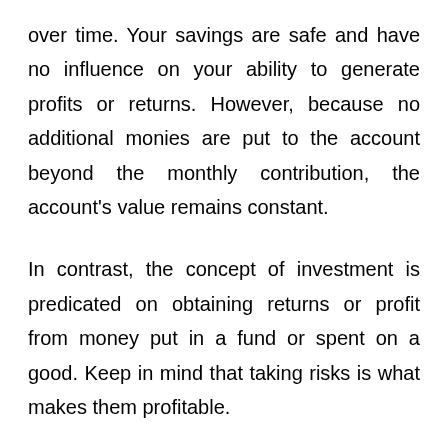over time. Your savings are safe and have no influence on your ability to generate profits or returns. However, because no additional monies are put to the account beyond the monthly contribution, the account's value remains constant.
In contrast, the concept of investment is predicated on obtaining returns or profit from money put in a fund or spent on a good. Keep in mind that taking risks is what makes them profitable.
Remember that there is a direct relationship